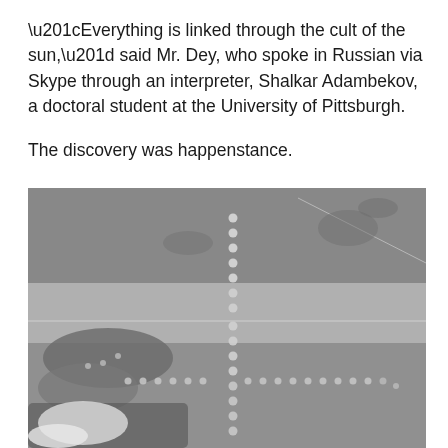“Everything is linked through the cult of the sun,” said Mr. Dey, who spoke in Russian via Skype through an interpreter, Shalkar Adambekov, a doctoral student at the University of Pittsburgh.

The discovery was happenstance.
[Figure (photo): Black and white aerial photograph showing a landscape with dotted/circular patterns forming cross-like or geometric shapes on the ground, appearing to be archaeological formations or earthworks viewed from above.]